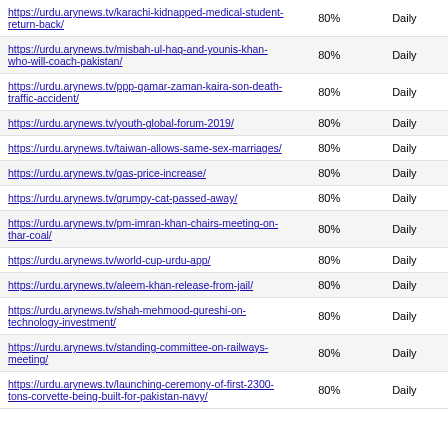| URL | Percentage | Frequency |
| --- | --- | --- |
| https://urdu.arynews.tv/karachi-kidnapped-medical-student-return-back/ | 80% | Daily |
| https://urdu.arynews.tv/misbah-ul-haq-and-younis-khan-who-will-coach-pakistan/ | 80% | Daily |
| https://urdu.arynews.tv/ppp-qamar-zaman-kaira-son-death-traffic-accident/ | 80% | Daily |
| https://urdu.arynews.tv/youth-global-forum-2019/ | 80% | Daily |
| https://urdu.arynews.tv/taiwan-allows-same-sex-marriages/ | 80% | Daily |
| https://urdu.arynews.tv/gas-price-increase/ | 80% | Daily |
| https://urdu.arynews.tv/grumpy-cat-passed-away/ | 80% | Daily |
| https://urdu.arynews.tv/pm-imran-khan-chairs-meeting-on-thar-coal/ | 80% | Daily |
| https://urdu.arynews.tv/world-cup-urdu-app/ | 80% | Daily |
| https://urdu.arynews.tv/aleem-khan-release-from-jail/ | 80% | Daily |
| https://urdu.arynews.tv/shah-mehmood-qureshi-on-technology-investment/ | 80% | Daily |
| https://urdu.arynews.tv/standing-committee-on-railways-meeting/ | 80% | Daily |
| https://urdu.arynews.tv/launching-ceremony-of-first-2300-tons-corvette-being-built-for-pakistan-navy/ | 80% | Daily |